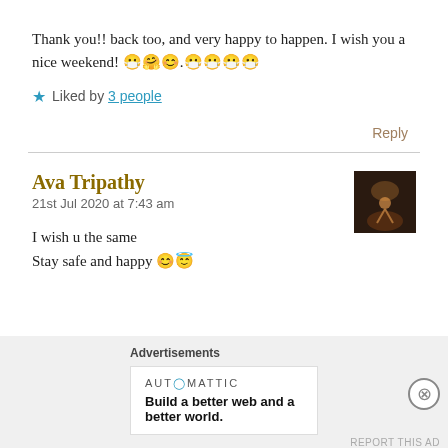Thank you!! back too, and very happy to happen. I wish you a nice weekend! 😷🤗😊.😷😷😷😷
★ Liked by 3 people
Reply
Ava Tripathy
21st Jul 2020 at 7:43 am
[Figure (photo): Small square avatar photo showing a silhouette against a warm orange/red background]
I wish u the same
Stay safe and happy 😊😇
Advertisements
AUT⊙MATTIC
Build a better web and a better world.